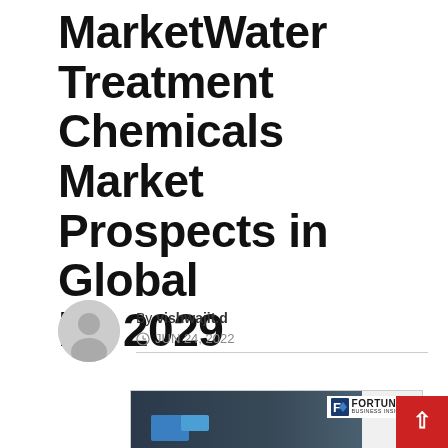MarketWater Treatment Chemicals Market Prospects in Global by 2029
By vishwajit.d
JUN 24, 2022
[Figure (infographic): Fortune Business Insights infographic showing water treatment chemicals market data with a dark circular background graphic and blue document/folder icons]